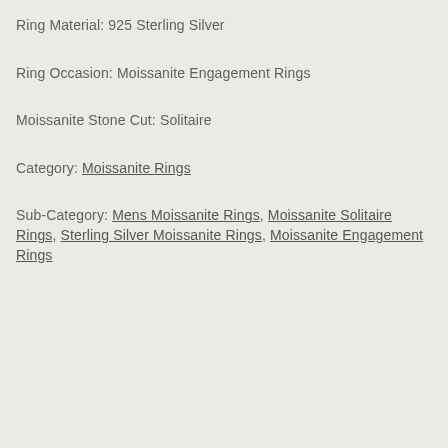Ring Material: 925 Sterling Silver
Ring Occasion: Moissanite Engagement Rings
Moissanite Stone Cut: Solitaire
Category: Moissanite Rings
Sub-Category: Mens Moissanite Rings, Moissanite Solitaire Rings, Sterling Silver Moissanite Rings, Moissanite Engagement Rings